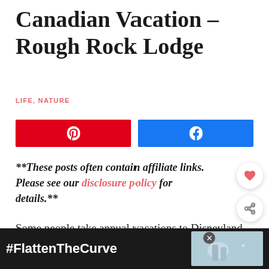Canadian Vacation – Rough Rock Lodge
LIFE, NATURE
[Figure (other): Pinterest share button (red) and Facebook share button (blue) side by side]
**These posts often contain affiliate links. Please see our disclosure policy for details.**
Some people take annual vacations to Disneyland or head north to their "cabins." Others g… cities or spend time at the ocean
[Figure (other): What's Next promotion box showing 'Goodbye Canadian...' with thumbnail]
[Figure (other): Advertisement banner with #FlattenTheCurve text and image of hands washing]